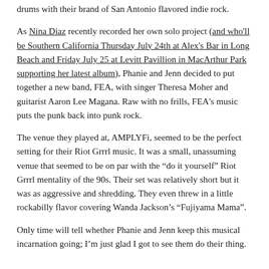drums with their brand of San Antonio flavored indie rock.
As Nina Diaz recently recorded her own solo project (and who'll be Southern California Thursday July 24th at Alex's Bar in Long Beach and Friday July 25 at Levitt Pavillion in MacArthur Park supporting her latest album), Phanie and Jenn decided to put together a new band, FEA, with singer Theresa Moher and guitarist Aaron Lee Magana. Raw with no frills, FEA's music puts the punk back into punk rock.
The venue they played at, AMPLYFi, seemed to be the perfect setting for their Riot Grrrl music. It was a small, unassuming venue that seemed to be on par with the “do it yourself” Riot Grrrl mentality of the 90s. Their set was relatively short but it was as aggressive and shredding. They even threw in a little rockabilly flavor covering Wanda Jackson’s “Fujiyama Mama”.
Only time will tell whether Phanie and Jenn keep this musical incarnation going; I’m just glad I got to see them do their thing.